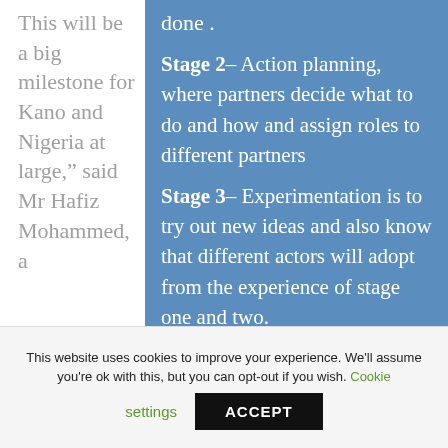This will be a big milestone for Kano and Nigeria at large,” said Mr Hafiz Mohammed, a
done .
Stage 2– Action planning, where partners decide what to do and how and assign roles to different partners
Stage 3– Experimentation is to try out new ideas and also know that different actors will adopt from the experience of stage one and two.
This website uses cookies to improve your experience. We'll assume you're ok with this, but you can opt-out if you wish. Cookie settings ACCEPT